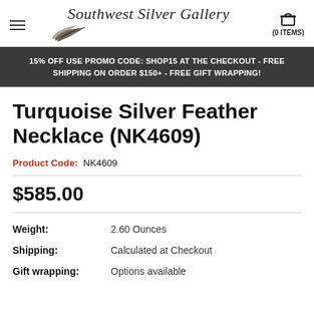Southwest Silver Gallery — (0 ITEMS)
15% OFF USE PROMO CODE: SHOP15 AT THE CHECKOUT - FREE SHIPPING ON ORDER $150+ - FREE GIFT WRAPPING!
Turquoise Silver Feather Necklace (NK4609)
Product Code: NK4609
$585.00
| Field | Value |
| --- | --- |
| Weight: | 2.60 Ounces |
| Shipping: | Calculated at Checkout |
| Gift wrapping: | Options available |